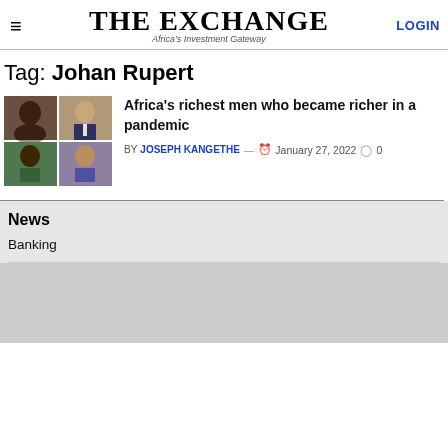THE EXCHANGE — Africa's Investment Gateway — LOGIN
Tag: Johan Rupert
[Figure (photo): Grid of four portrait photos of African business figures]
Africa's richest men who became richer in a pandemic
BY JOSEPH KANGETHE — January 27, 2022 — 0 comments
News
Banking